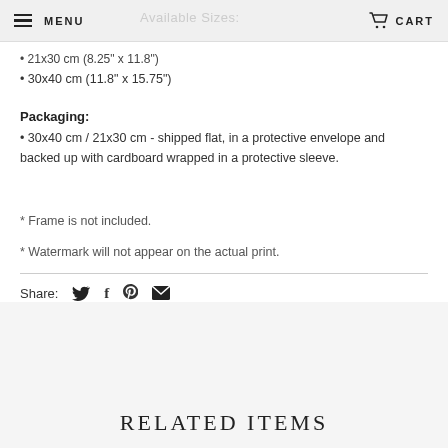MENU   Available Sizes:   CART
• 21x30 cm (8.25" x 11.8")
• 30x40 cm (11.8" x 15.75")
Packaging:
• 30x40 cm / 21x30 cm - shipped flat, in a protective envelope and backed up with cardboard wrapped in a protective sleeve.
* Frame is not included.
* Watermark will not appear on the actual print.
Share:
RELATED ITEMS